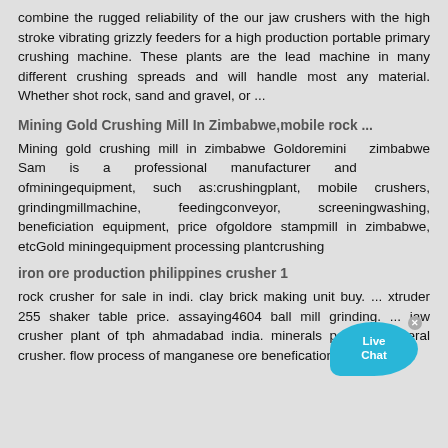combine the rugged reliability of the our jaw crushers with the high stroke vibrating grizzly feeders for a high production portable primary crushing machine. These plants are the lead machine in many different crushing spreads and will handle most any material. Whether shot rock, sand and gravel, or ...
Mining Gold Crushing Mill In Zimbabwe,mobile rock ...
Mining gold crushing mill in zimbabwe Goldoremining zimbabwe Sam is a professional manufacturer and exporter ofminingequipment, such as:crushingplant, mobile crushers, grindingmillmachine, feedingconveyor, screeningwashing, beneficiation equipment, price ofgoldore stampmill in zimbabwe, etcGold miningequipment processing plantcrushing
iron ore production philippines crusher 1
rock crusher for sale in indi. clay brick making unit buy. ... xtruder 255 shaker table price. assaying4604 ball mill grinding. ... jaw crusher plant of tph ahmadabad india. minerals portable mineral crusher. flow process of manganese ore benefication plant. dry